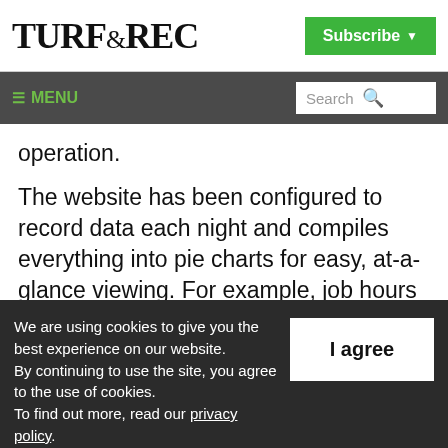TURF&REC
Subscribe
MENU | Search
operation.
The website has been configured to record data each night and compiles everything into pie charts for easy, at-a-glance viewing. For example, job hours worked by the grounds maintenance staff are meticulously broken
We are using cookies to give you the best experience on our website.
By continuing to use the site, you agree to the use of cookies.
To find out more, read our privacy policy.
I agree